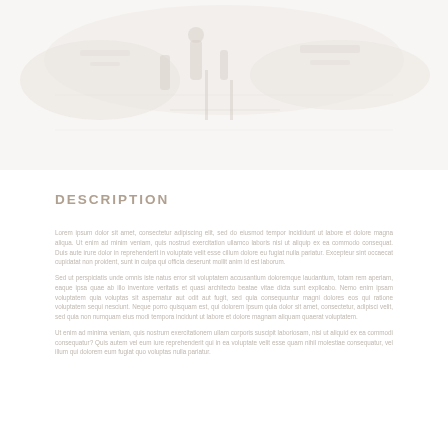[Figure (photo): Faded/washed-out header image showing scientific or nature imagery, very light gray tones, spanning the top portion of the page.]
DESCRIPTION
Lorem ipsum dolor sit amet, consectetur adipiscing elit, sed do eiusmod tempor incididunt ut labore et dolore magna aliqua. Ut enim ad minim veniam, quis nostrud exercitation ullamco laboris nisi ut aliquip ex ea commodo consequat. Duis aute irure dolor in reprehenderit in voluptate velit esse cillum dolore eu fugiat nulla pariatur. Excepteur sint occaecat cupidatat non proident, sunt in culpa qui officia deserunt mollit anim id est laborum. Sed ut perspiciatis unde omnis iste natus error sit voluptatem accusantium doloremque laudantium, totam rem aperiam, eaque ipsa quae ab illo inventore veritatis et quasi architecto beatae vitae dicta sunt explicabo. Nemo enim ipsam voluptatem quia voluptas sit aspernatur aut odit aut fugit, sed quia consequuntur magni dolores eos qui ratione voluptatem sequi nesciunt. Neque porro quisquam est, qui dolorem ipsum quia dolor sit amet, consectetur, adipisci velit, sed quia non numquam eius modi tempora incidunt ut labore et dolore magnam aliquam quaerat voluptatem.